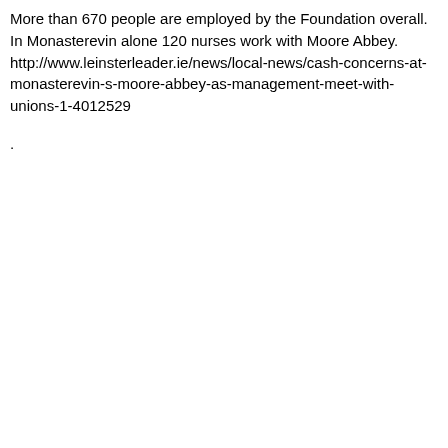More than 670 people are employed by the Foundation overall. In Monasterevin alone 120 nurses work with Moore Abbey.
http://www.leinsterleader.ie/news/local-news/cash-concerns-at-monasterevin-s-moore-abbey-as-management-meet-with-unions-1-4012529
.